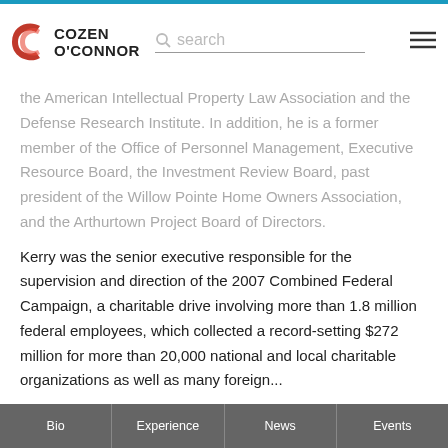Cozen O'Connor — search — menu
the American Intellectual Property Law Association and the Defense Research Institute. In addition, he is a former member of the Office of Personnel Management, Executive Resource Board, the Investment Review Board, past president of the Willow Pointe Home Owners Association, and the Arthurtown Project Board of Directors.
Kerry was the senior executive responsible for the supervision and direction of the 2007 Combined Federal Campaign, a charitable drive involving more than 1.8 million federal employees, which collected a record-setting $272 million for more than 20,000 national and local charitable organizations as well as many foreign...
Bio | Experience | News | Events